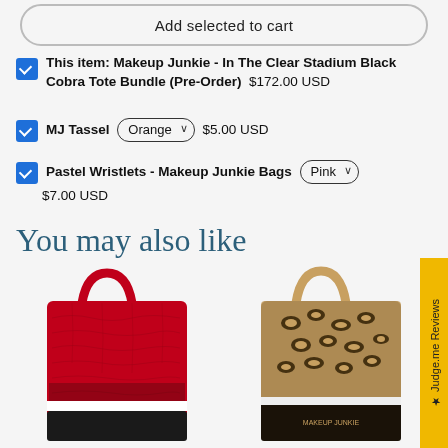Add selected to cart
This item: Makeup Junkie - In The Clear Stadium Black Cobra Tote Bundle (Pre-Order) $172.00 USD
MJ Tassel  Orange  $5.00 USD
Pastel Wristlets - Makeup Junkie Bags  Pink  $7.00 USD
You may also like
[Figure (photo): Red crocodile-print tote bag with red handles]
[Figure (photo): Leopard-print tote bag with tan/brown straps on dark base]